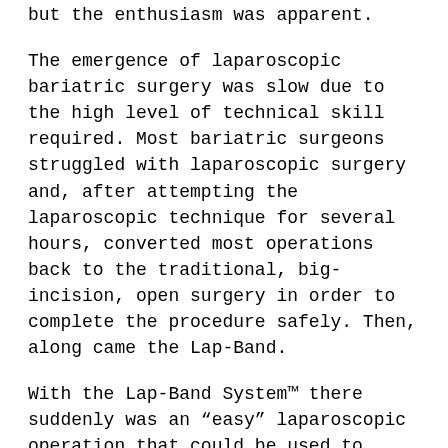but the enthusiasm was apparent.
The emergence of laparoscopic bariatric surgery was slow due to the high level of technical skill required. Most bariatric surgeons struggled with laparoscopic surgery and, after attempting the laparoscopic technique for several hours, converted most operations back to the traditional, big-incision, open surgery in order to complete the procedure safely. Then, along came the Lap-Band.
With the Lap-Band System™ there suddenly was an “easy” laparoscopic operation that could be used to treat severe obesity. Despite the growing demand for minimally invasive bariatric surgery, many patients had been dissuaded by the (false) claim that laparoscopic gastric bypass was a very high-risk procedure. Then, suddenly the Lap-Band seemed like the answers to